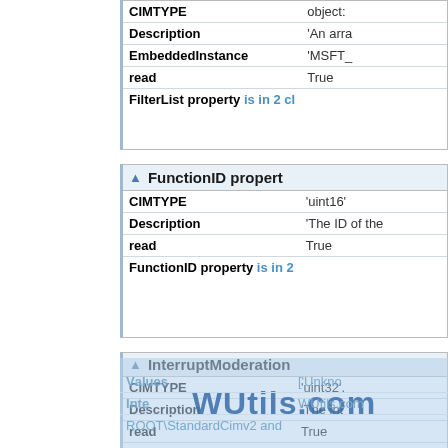| Property | Value |
| --- | --- |
| CIMTYPE | object: |
| Description | 'An arra |
| EmbeddedInstance | 'MSFT_ |
| read | True |
| FilterList property | is in 2 cl |
| Property | Value |
| --- | --- |
| ▲ FunctionID propert |  |
| CIMTYPE | 'uint16' |
| Description | 'The ID of the |
| read | True |
| FunctionID property | is in 2 |
| Property | Value |
| --- | --- |
| ▲ InterruptModeration |  |
| CIMTYPE | 'uint32'. |
| Description | 'The int |
| read | True |
| ValueMap | ['0', '1', |
| Values | ['Unkno |
| Inte | WUtils.com |
| ROOT\StandardCimv2 and |  |